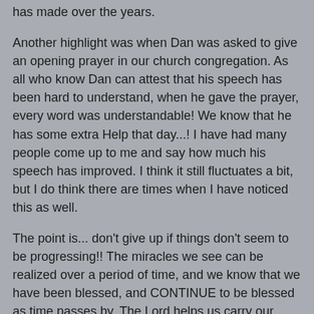has made over the years.
Another highlight was when Dan was asked to give an opening prayer in our church congregation. As all who know Dan can attest that his speech has been hard to understand, when he gave the prayer, every word was understandable! We know that he has some extra Help that day...! I have had many people come up to me and say how much his speech has improved. I think it still fluctuates a bit, but I do think there are times when I have noticed this as well.
The point is... don't give up if things don't seem to be progressing!! The miracles we see can be realized over a period of time, and we know that we have been blessed, and CONTINUE to be blessed as time passes by. The Lord helps us carry our burdens through the dark times, and He also blesses us with continued progress, even if it is a little at a time. We are told that there is no progress after the first couple of years post-injury. I believe that is mostly because people give up hope and stop trying...
I am not saying it is not hard to keep believing in progress